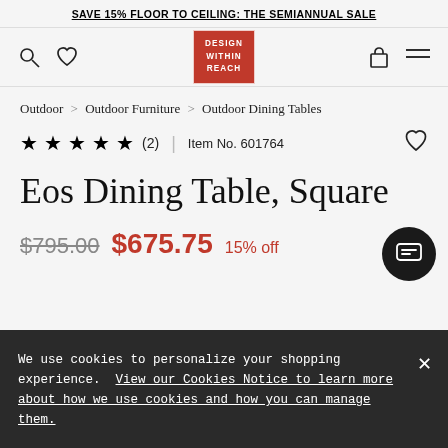SAVE 15% FLOOR TO CEILING: THE SEMIANNUAL SALE
[Figure (logo): Design Within Reach logo — red rectangle with white text reading DESIGN WITHIN REACH]
Outdoor > Outdoor Furniture > Outdoor Dining Tables
★★★★★ (2) | Item No. 601764
Eos Dining Table, Square
$795.00  $675.75  15% off
We use cookies to personalize your shopping experience. View our Cookies Notice to learn more about how we use cookies and how you can manage them.